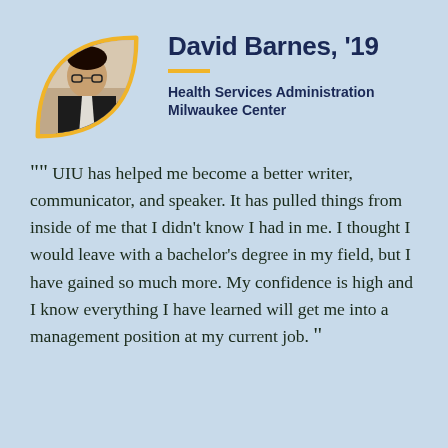[Figure (photo): Headshot of David Barnes, a man in a suit with glasses, inside a yellow leaf-shaped decorative border on light blue background.]
David Barnes, '19
Health Services Administration
Milwaukee Center
““ UIU has helped me become a better writer, communicator, and speaker. It has pulled things from inside of me that I didn't know I had in me. I thought I would leave with a bachelor's degree in my field, but I have gained so much more. My confidence is high and I know everything I have learned will get me into a management position at my current job. ””